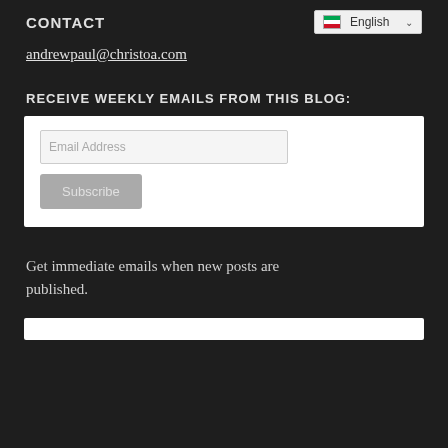CONTACT
[Figure (screenshot): Language selector dropdown showing 'en English' with a flag icon and chevron, on a light gray background]
andrewpaul@christoa.com
RECEIVE WEEKLY EMAILS FROM THIS BLOG:
[Figure (screenshot): White subscription form box containing an email address input field and a gray 'Subscribe' button]
Get immediate emails when new posts are published.
[Figure (screenshot): Bottom white box partially visible at bottom of page]